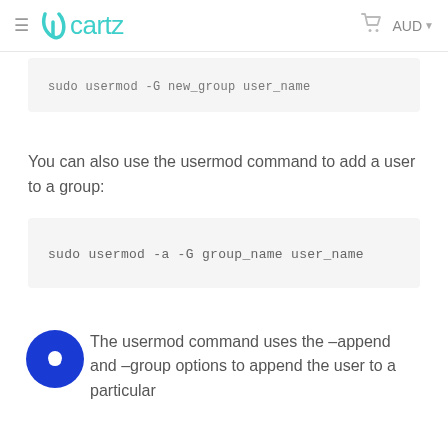Ucartz  AUD
[Figure (screenshot): Partial code block showing: sudo usermod -G new_group user_name]
You can also use the usermod command to add a user to a group:
[Figure (screenshot): Code block: sudo usermod -a -G group_name user_name]
The usermod command uses the –append and –group options to append the user to a particular